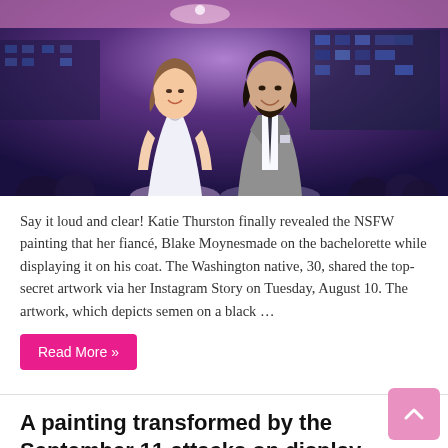[Figure (photo): A couple standing together smiling — a woman in a white dress and a man in a gray suit with a dark tie, on what appears to be a TV show set with a purple-lit background and city skyline.]
Say it loud and clear! Katie Thurston finally revealed the NSFW painting that her fiancé, Blake Moynesmade on the bachelorette while displaying it on his coat. The Washington native, 30, shared the top-secret artwork via her Instagram Story on Tuesday, August 10. The artwork, which depicts semen on a black …
Read More »
A painting transformed by the September 11 attacks on display at the memorial